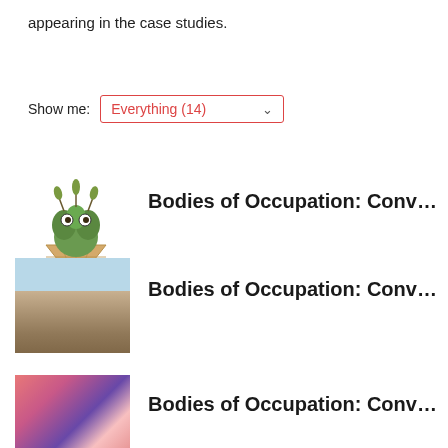appearing in the case studies.
Show me: Everything (14)
[Figure (illustration): Thumbnail of a cactus or plant in a waffle cone]
Bodies of Occupation: Conv…
[Figure (photo): Thumbnail of a desert landscape with sky]
Bodies of Occupation: Conv…
[Figure (photo): Thumbnail of a person with colorful background]
Bodies of Occupation: Conv…